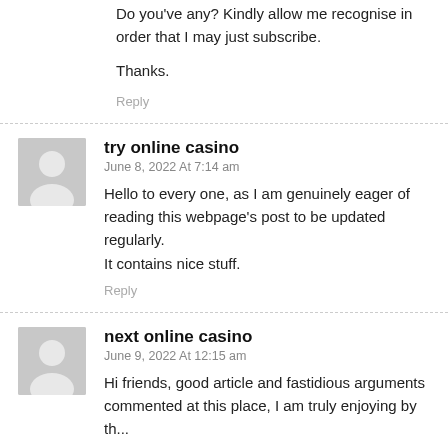Do you've any? Kindly allow me recognise in order that I may just subscribe.
Thanks.
Reply
try online casino
June 8, 2022 At 7:14 am
Hello to every one, as I am genuinely eager of reading this webpage's post to be updated regularly.
It contains nice stuff.
Reply
next online casino
June 9, 2022 At 12:15 am
Hi friends, good article and fastidious arguments commented at this place, I am truly enjoying by th...